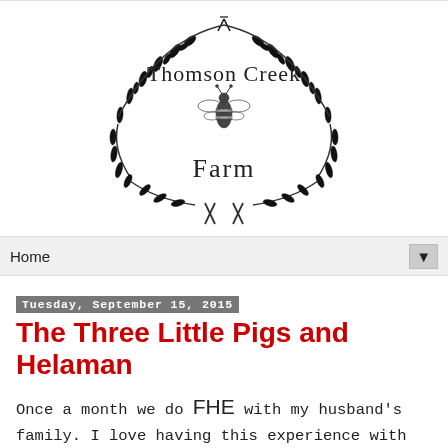[Figure (logo): Thomson Creek Farm logo: oval wreath of botanical branches and leaves with a bee illustration in the center, text reading 'Thomson Creek' above the bee and 'Farm' below, with crossed stems at the bottom.]
Home ▼
Tuesday, September 15, 2015
The Three Little Pigs and Helaman
Once a month we do FHE with my husband's family. I love having this experience with extended family and wish that I got to do it with my family